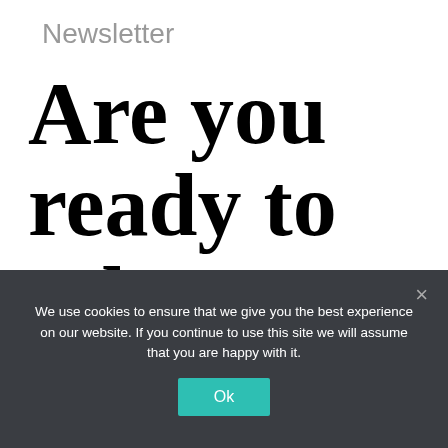Newsletter
Are you ready to take charge
We use cookies to ensure that we give you the best experience on our website. If you continue to use this site we will assume that you are happy with it.
Ok